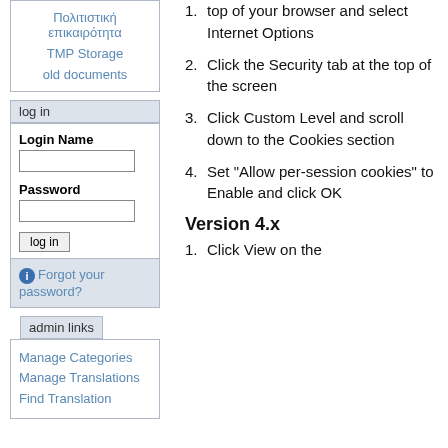Πολιτιστική επικαιρότητα
TMP Storage
old documents
log in
Login Name
Password
log in
Forgot your password?
admin links
Manage Categories
Manage Translations
Find Translation
top of your browser and select Internet Options
Click the Security tab at the top of the screen
Click Custom Level and scroll down to the Cookies section
Set "Allow per-session cookies" to Enable and click OK
Version 4.x
Click View on the